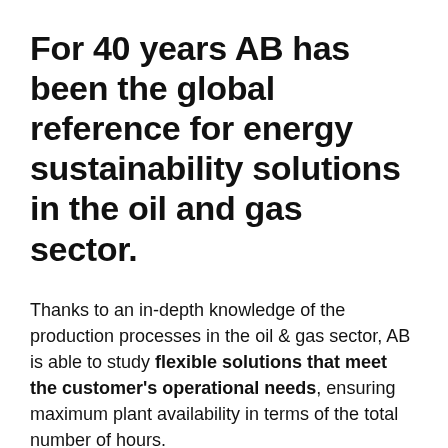For 40 years AB has been the global reference for energy sustainability solutions in the oil and gas sector.
Thanks to an in-depth knowledge of the production processes in the oil & gas sector, AB is able to study flexible solutions that meet the customer's operational needs, ensuring maximum plant availability in terms of the total number of hours.
AB solutions respond to a typical problem in